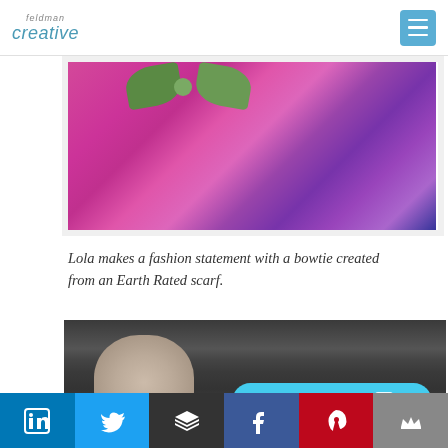Feldman Creative logo and navigation menu
[Figure (photo): Partial view of a dog with green polka-dot bow ties on a pink quilted surface with purple blanket]
Lola makes a fashion statement with a bowtie created from an Earth Rated scarf.
[Figure (photo): Pug dog wearing a green scarf sitting on a dark grey couch]
Social media icons: LinkedIn, Twitter, Buffer, Facebook, Pinterest, Crown